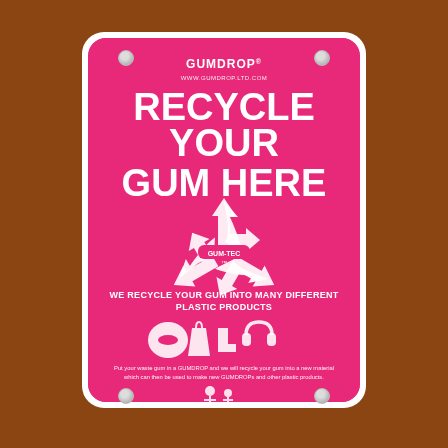[Figure (photo): A pink Gumdrop gum recycling sign mounted on a brick wall. The sign reads 'RECYCLE YOUR GUM HERE' with a recycling symbol containing 'GUM-TEC', icons of products made from recycled gum, and text explaining that waste gum is recycled into new material to make GUMDROPs and other plastic products.]